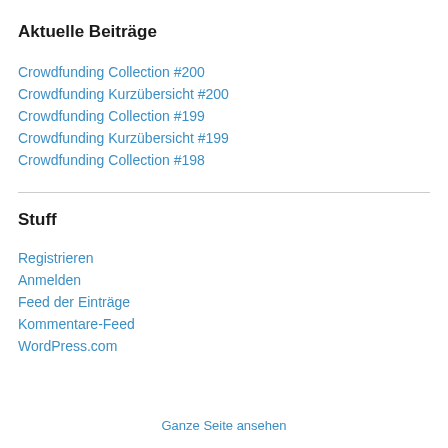Aktuelle Beiträge
Crowdfunding Collection #200
Crowdfunding Kurzübersicht #200
Crowdfunding Collection #199
Crowdfunding Kurzübersicht #199
Crowdfunding Collection #198
Stuff
Registrieren
Anmelden
Feed der Einträge
Kommentare-Feed
WordPress.com
Ganze Seite ansehen